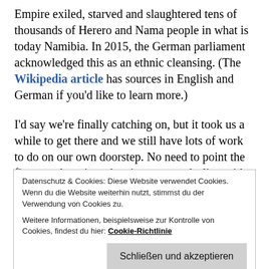Empire exiled, starved and slaughtered tens of thousands of Herero and Nama people in what is today Namibia. In 2015, the German parliament acknowledged this as an ethnic cleansing. (The Wikipedia article has sources in English and German if you'd like to learn more.)
I'd say we're finally catching on, but it took us a while to get there and we still have lots of work to do on our own doorstep. No need to point the finger at America when it comes to dealing with racist
Datenschutz & Cookies: Diese Website verwendet Cookies. Wenn du die Website weiterhin nutzt, stimmst du der Verwendung von Cookies zu.
Weitere Informationen, beispielsweise zur Kontrolle von Cookies, findest du hier: Cookie-Richtlinie
Schließen und akzeptieren
co do with cosplay?